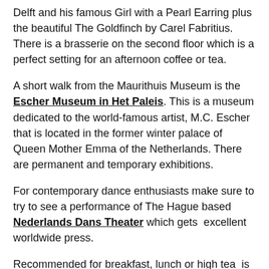Delft and his famous Girl with a Pearl Earring plus the beautiful The Goldfinch by Carel Fabritius. There is a brasserie on the second floor which is a perfect setting for an afternoon coffee or tea.
A short walk from the Maurithuis Museum is the Escher Museum in Het Paleis. This is a museum dedicated to the world-famous artist, M.C. Escher that is located in the former winter palace of Queen Mother Emma of the Netherlands. There are permanent and temporary exhibitions.
For contemporary dance enthusiasts make sure to try to see a performance of The Hague based Nederlands Dans Theater which gets excellent worldwide press.
Recommended for breakfast, lunch or high tea is Cafe Blossom. The Parkhotel is also recommended as a great spot to stay.